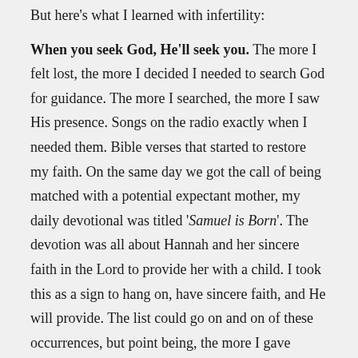But here's what I learned with infertility:
When you seek God, He'll seek you. The more I felt lost, the more I decided I needed to search God for guidance. The more I searched, the more I saw His presence. Songs on the radio exactly when I needed them. Bible verses that started to restore my faith. On the same day we got the call of being matched with a potential expectant mother, my daily devotional was titled 'Samuel is Born'. The devotion was all about Hannah and her sincere faith in the Lord to provide her with a child. I took this as a sign to hang on, have sincere faith, and He will provide. The list could go on and on of these occurrences, but point being, the more I gave myself to God, the more He gave back.
God made all things for a reason, and it is a gift. The...